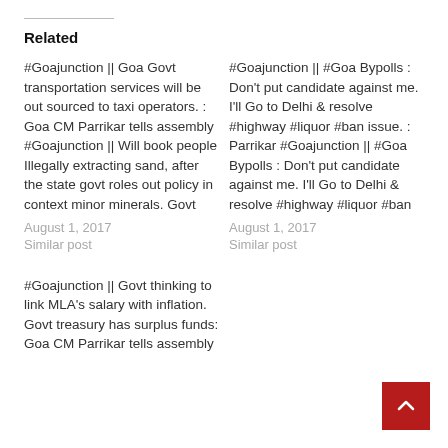Related
#Goajunction || Goa Govt transportation services will be out sourced to taxi operators. : Goa CM Parrikar tells assembly #Goajunction || Will book people Illegally extracting sand, after the state govt roles out policy in context minor minerals.  Govt
August 1, 2017
Similar post
#Goajunction || #Goa Bypolls : Don’t put candidate against me. I’ll Go to Delhi & resolve #highway #liquor  #ban issue. : Parrikar #Goajunction || #Goa Bypolls : Don’t put candidate against me. I’ll Go to Delhi & resolve #highway #liquor  #ban
August 1, 2017
Similar post
#Goajunction || Govt thinking to link MLA’s salary with inflation. Govt treasury has surplus funds:  Goa CM Parrikar tells assembly